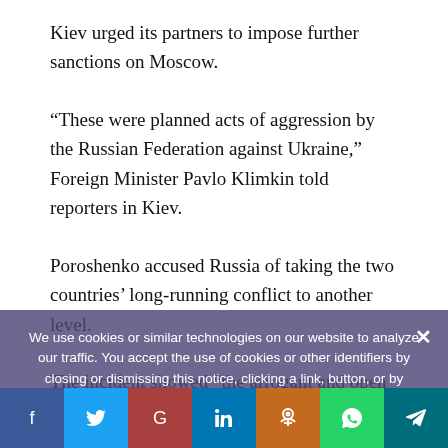Kiev urged its partners to impose further sanctions on Moscow.
“These were planned acts of aggression by the Russian Federation against Ukraine,” Foreign Minister Pavlo Klimkin told reporters in Kiev.
Poroshenko accused Russia of taking the two countries’ long-running conflict to another level.
The incident showed “the arrogant and open activities from the side of Russian occupiers,” he said in a television address to the nation, disparaging Moscow’s insistence that its forces were not directly involved in Ukraine.